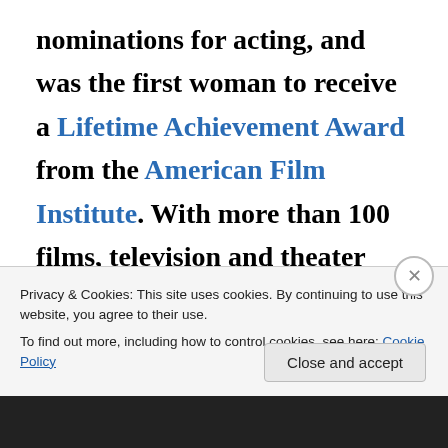nominations for acting, and was the first woman to receive a Lifetime Achievement Award from the American Film Institute. With more than 100 films, television and theater roles to her credit, in 1999, Davis placed second on the American Film
Privacy & Cookies: This site uses cookies. By continuing to use this website, you agree to their use.
To find out more, including how to control cookies, see here: Cookie Policy
Close and accept